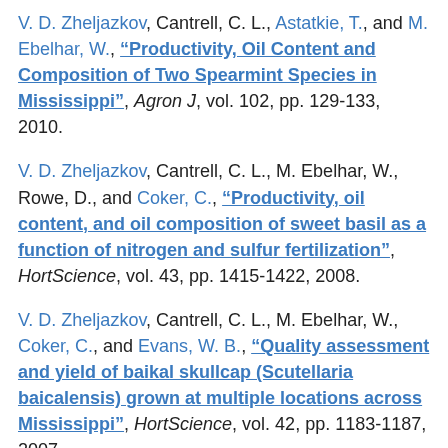V. D. Zheljazkov, Cantrell, C. L., Astatkie, T., and M. Ebelhar, W., "Productivity, Oil Content and Composition of Two Spearmint Species in Mississippi", Agron J, vol. 102, pp. 129-133, 2010.
V. D. Zheljazkov, Cantrell, C. L., M. Ebelhar, W., Rowe, D., and Coker, C., "Productivity, oil content, and oil composition of sweet basil as a function of nitrogen and sulfur fertilization", HortScience, vol. 43, pp. 1415-1422, 2008.
V. D. Zheljazkov, Cantrell, C. L., M. Ebelhar, W., Coker, C., and Evans, W. B., "Quality assessment and yield of baikal skullcap (Scutellaria baicalensis) grown at multiple locations across Mississippi", HortScience, vol. 42, pp. 1183-1187, 2007.